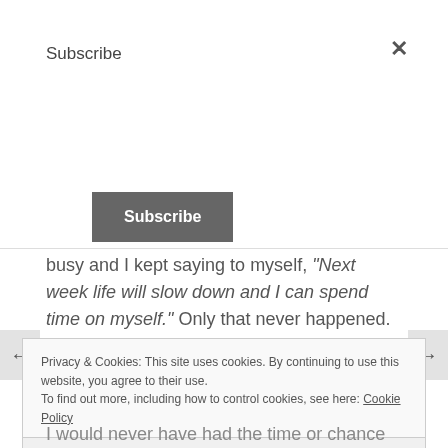Subscribe
Subscribe
busy and I kept saying to myself, “Next week life will slow down and I can spend time on myself.” Only that never happened.
Until all of a sudden, life was forced to slow down.
Privacy & Cookies: This site uses cookies. By continuing to use this website, you agree to their use. To find out more, including how to control cookies, see here: Cookie Policy
Close and accept
I would never have had the time or chance to do.